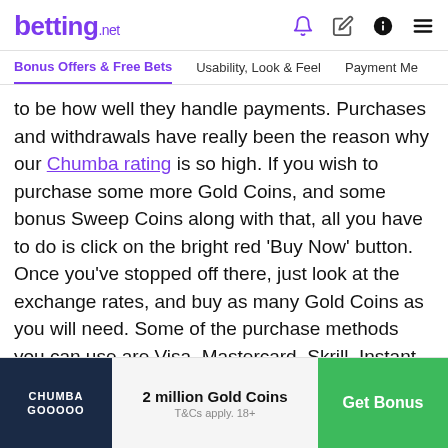betting.net
Bonus Offers & Free Bets | Usability, Look & Feel | Payment Me...
to be how well they handle payments. Purchases and withdrawals have really been the reason why our Chumba rating is so high. If you wish to purchase some more Gold Coins, and some bonus Sweep Coins along with that, all you have to do is click on the bright red 'Buy Now' button. Once you've stopped off there, just look at the exchange rates, and buy as many Gold Coins as you will need. Some of the purchase methods you can use are Visa, Mastercard, Skrill, Instant ACH and Rapid Transfer.
[Figure (other): Chumba Casino promotional banner with dark navy logo on left, '2 million Gold Coins' text in center, and green 'Get Bonus' button on right. T&Cs apply. 18+]